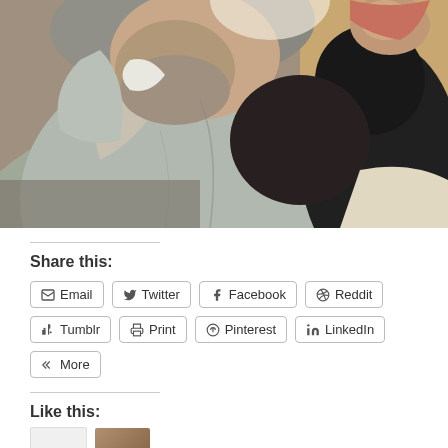[Figure (photo): Close-up photo of an older man with gray beard wearing a gray jacket, seated next to a person in black clothing, in an indoor setting]
Share this:
Email
Twitter
Facebook
Reddit
Tumblr
Print
Pinterest
LinkedIn
More
Like this: